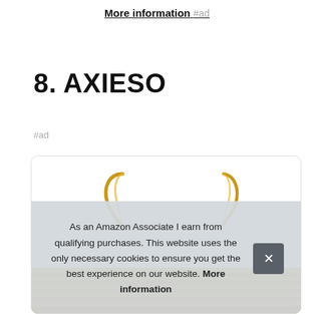More information #ad
8. AXIESO
#ad
[Figure (photo): Product photo of woven basket with gold decorative handles, partially visible]
As an Amazon Associate I earn from qualifying purchases. This website uses the only necessary cookies to ensure you get the best experience on our website. More information